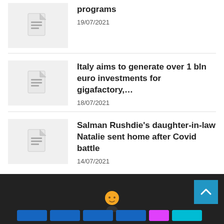programs
19/07/2021
Italy aims to generate over 1 bln euro investments for gigafactory,…
18/07/2021
Salman Rushdie&apos;s daughter-in-law Natalie sent home after Covid battle
14/07/2021
Footer with logo and scroll-to-top button